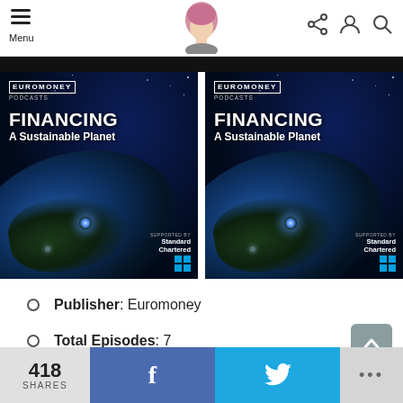Menu
[Figure (screenshot): Euromoney Podcasts – Financing A Sustainable Planet podcast cover art (left copy). Space/Earth background with Standard Chartered sponsor logo.]
[Figure (screenshot): Euromoney Podcasts – Financing A Sustainable Planet podcast cover art (right copy). Space/Earth background with Standard Chartered sponsor logo.]
Publisher: Euromoney
Total Episodes: 7
418 SHARES  f  (Twitter bird)  ...